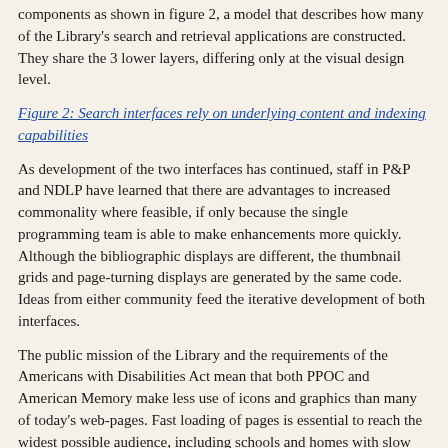components as shown in figure 2, a model that describes how many of the Library's search and retrieval applications are constructed. They share the 3 lower layers, differing only at the visual design level.
Figure 2: Search interfaces rely on underlying content and indexing capabilities
As development of the two interfaces has continued, staff in P&P and NDLP have learned that there are advantages to increased commonality where feasible, if only because the single programming team is able to make enhancements more quickly. Although the bibliographic displays are different, the thumbnail grids and page-turning displays are generated by the same code. Ideas from either community feed the iterative development of both interfaces.
The public mission of the Library and the requirements of the Americans with Disabilities Act mean that both PPOC and American Memory make less use of icons and graphics than many of today's web-pages. Fast loading of pages is essential to reach the widest possible audience, including schools and homes with slow network connections and older computers and software. Pages must be constructed in a way that is usable by assistive software for the handicapped. Rather than create text-only pages as alternatives, the Library has chosen to have some text-only...